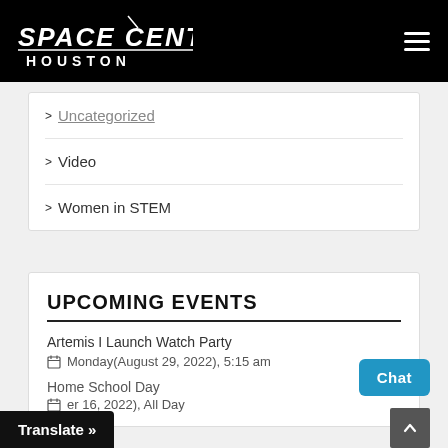Space Center Houston
> Uncategorized
> Video
> Women in STEM
UPCOMING EVENTS
Artemis I Launch Watch Party
Monday(August 29, 2022), 5:15 am
Home School Day
(er 16, 2022), All Day